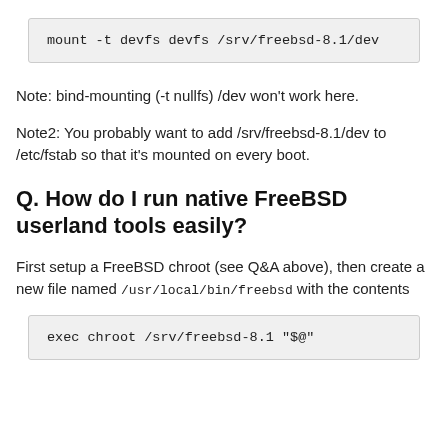[Figure (screenshot): Code block showing: mount -t devfs devfs /srv/freebsd-8.1/dev]
Note: bind-mounting (-t nullfs) /dev won't work here.
Note2: You probably want to add /srv/freebsd-8.1/dev to /etc/fstab so that it's mounted on every boot.
Q. How do I run native FreeBSD userland tools easily?
First setup a FreeBSD chroot (see Q&A above), then create a new file named /usr/local/bin/freebsd with the contents
[Figure (screenshot): Code block showing: exec chroot /srv/freebsd-8.1 "$@"]